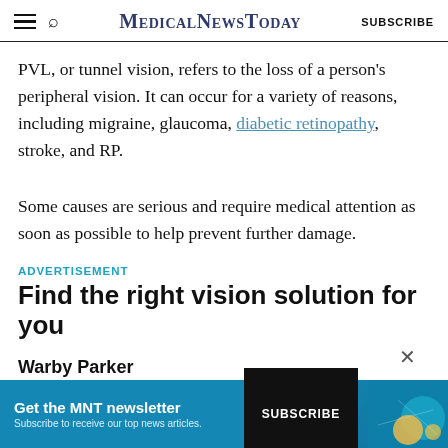MedicalNewsToday | SUBSCRIBE
PVL, or tunnel vision, refers to the loss of a person’s peripheral vision. It can occur for a variety of reasons, including migraine, glaucoma, diabetic retinopathy, stroke, and RP.
Some causes are serious and require medical attention as soon as possible to help prevent further damage.
ADVERTISEMENT
Find the right vision solution for you
Warby Parker
[Figure (screenshot): Newsletter banner: Get the MNT newsletter. Subscribe to receive our top news articles. With a SUBSCRIBE button.]